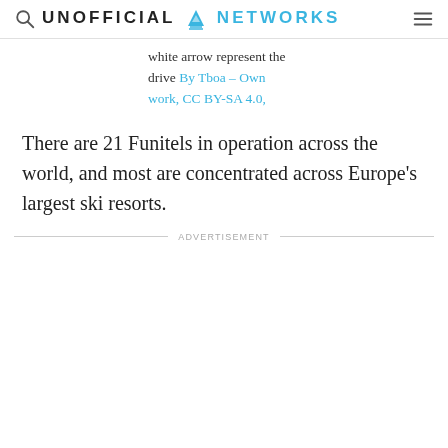UNOFFICIAL NETWORKS
white arrow represent the drive By Tboa – Own work, CC BY-SA 4.0,
There are 21 Funitels in operation across the world, and most are concentrated across Europe's largest ski resorts.
ADVERTISEMENT